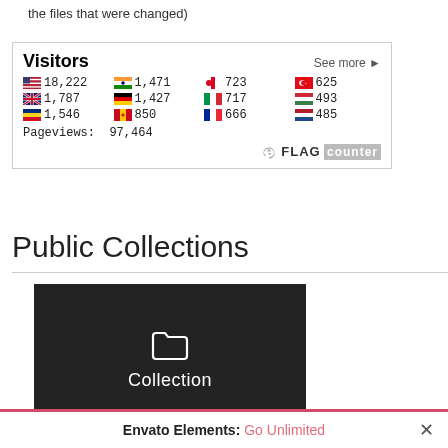the files that were changed)
[Figure (screenshot): Visitors widget with flag counter showing country visitor counts: US 18,222; IN 1,471; CA 723; TR 625; GB 1,787; DE 1,427; IT 717; (Hungary/red-white) 493; RO 1,546; ES 850; FR 666; NL 485. Pageviews: 97,464. FLAG counter logo.]
Public Collections
[Figure (screenshot): Dark collection thumbnail with folder icon and label 'Collection']
Envato Elements: Go Unlimited  ×